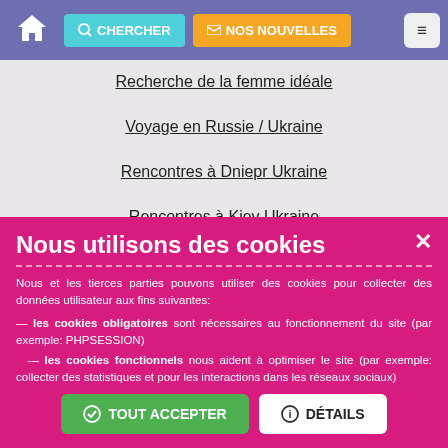CHERCHER | NOS NOUVELLES
Recherche de la femme idéale
Voyage en Russie / Ukraine
Rencontres à Dniepr Ukraine
Rencontres à Kiev Ukraine
Rencontres à Nikolaev Ukraine
Rencontres à Saint-Pétersbourg Russie
Vidéos de femmes de l'Est
Guide anti-arnaque complet
Nous utilisons des cookies
Nous et les tierces parties pouvons utiliser des cookies pour collecter des données utilisateur aux fins suivantes:
— les cookies obligatoires sont nécessaires au fonctionnement du site (par exemple: PHPSESSION)
  — les cookies fonctionnels nous aident à optimiser le site (par exemple: collecter des statistiques et pour les interactions dans les réseaux sociaux)
✓ TOUT ACCEPTER   ℹ DÉTAILS